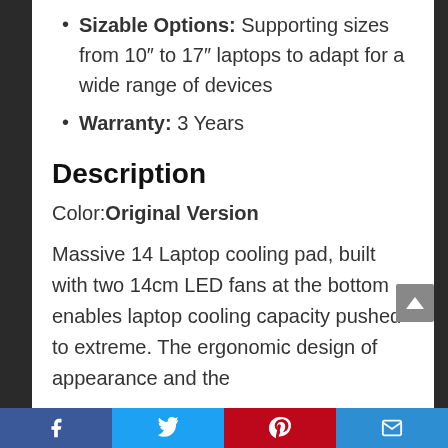Sizable Options: Supporting sizes from 10″ to 17″ laptops to adapt for a wide range of devices
Warranty: 3 Years
Description
Color: Original Version
Massive 14 Laptop cooling pad, built with two 14cm LED fans at the bottom enables laptop cooling capacity pushed to extreme. The ergonomic design of appearance and the